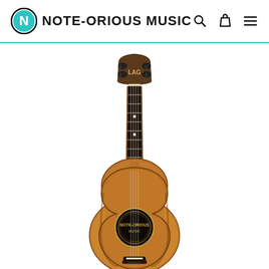NOTE-ORIOUS MUSIC
[Figure (photo): A ukulele with a mahogany body, dark fretboard with white fret markers, black tuning pegs, and a round sound hole with decorative rosette. The LAG brand logo is visible on the headstock. The instrument is photographed against a white background, showing the full front view from headstock to base.]